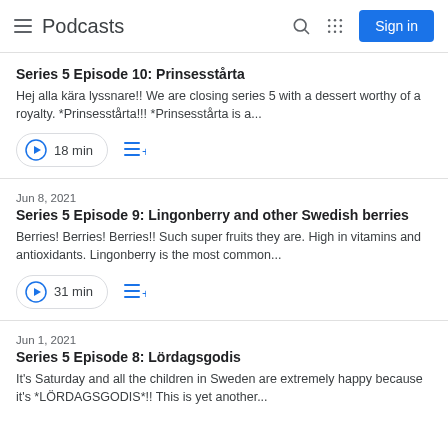Podcasts
Series 5 Episode 10: Prinsesstårta
Hej alla kära lyssnare!! We are closing series 5 with a dessert worthy of a royalty. *Prinsesstårta!!! *Prinsesstårta is a...
18 min
Jun 8, 2021
Series 5 Episode 9: Lingonberry and other Swedish berries
Berries! Berries! Berries!! Such super fruits they are. High in vitamins and antioxidants. Lingonberry is the most common...
31 min
Jun 1, 2021
Series 5 Episode 8: Lördagsgodis
It's Saturday and all the children in Sweden are extremely happy because it's *LÖRDAGSGODIS*!! This is yet another...